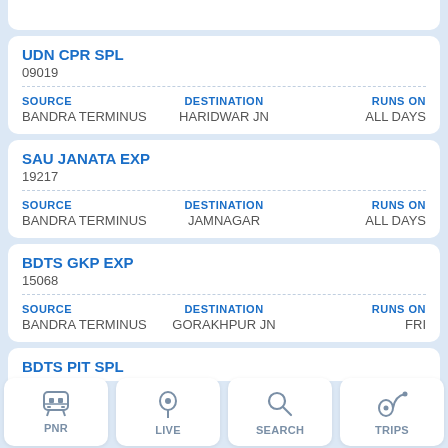UDN CPR SPL
09019
SOURCE: BANDRA TERMINUS | DESTINATION: HARIDWAR JN | RUNS ON: ALL DAYS
SAU JANATA EXP
19217
SOURCE: BANDRA TERMINUS | DESTINATION: JAMNAGAR | RUNS ON: ALL DAYS
BDTS GKP EXP
15068
SOURCE: BANDRA TERMINUS | DESTINATION: GORAKHPUR JN | RUNS ON: FRI
BDTS PIT SPL
PNR | LIVE | SEARCH | TRIPS